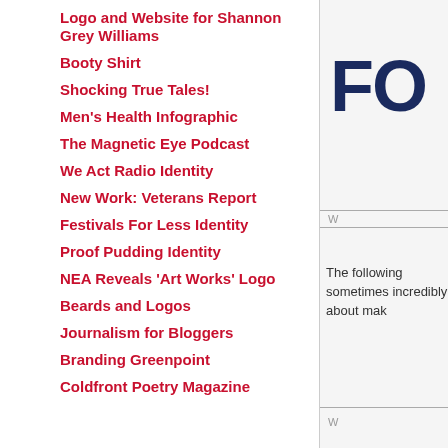Logo and Website for Shannon Grey Williams
Booty Shirt
Shocking True Tales!
Men's Health Infographic
The Magnetic Eye Podcast
We Act Radio Identity
New Work: Veterans Report
Festivals For Less Identity
Proof Pudding Identity
NEA Reveals ‘Art Works’ Logo
Beards and Logos
Journalism for Bloggers
Branding Greenpoint
Coldfront Poetry Magazine
FO
W
The following sometimes incredibly about mak
W